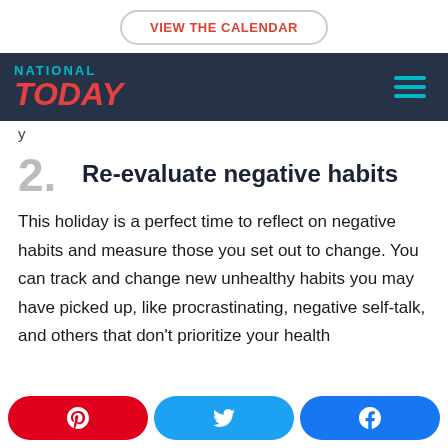VIEW THE CALENDAR
[Figure (logo): National Today logo with navigation bar on dark blue background]
y
2. Re-evaluate negative habits
This holiday is a perfect time to reflect on negative habits and measure those you set out to change. You can track and change new unhealthy habits you may have picked up, like procrastinating, negative self-talk, and others that don't prioritize your health
Pinterest, Twitter, Facebook share buttons